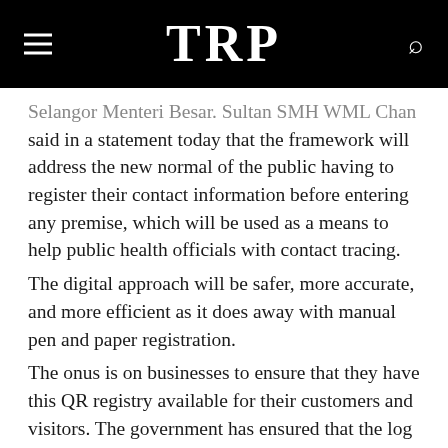TRP
said in a statement today that the framework will address the new normal of the public having to register their contact information before entering any premise, which will be used as a means to help public health officials with contact tracing.
The digital approach will be safer, more accurate, and more efficient as it does away with manual pen and paper registration.
The onus is on businesses to ensure that they have this QR registry available for their customers and visitors. The government has ensured that the log data will be securely stored by the local government